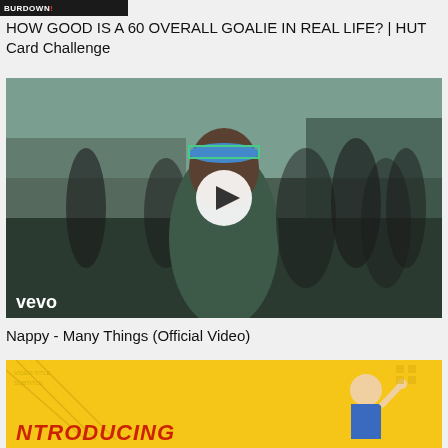[Figure (screenshot): BurDown logo bar at the top, white text on dark background with red accent]
HOW GOOD IS A 60 OVERALL GOALIE IN REAL LIFE? | HUT Card Challenge
[Figure (photo): Vevo music video thumbnail showing a man in a green jacket with women in the background, white play button overlay, vevo watermark in bottom left]
Nappy - Many Things (Official Video)
[Figure (screenshot): Yellow background with animated character raising hand, INTRODUCING text at the bottom]